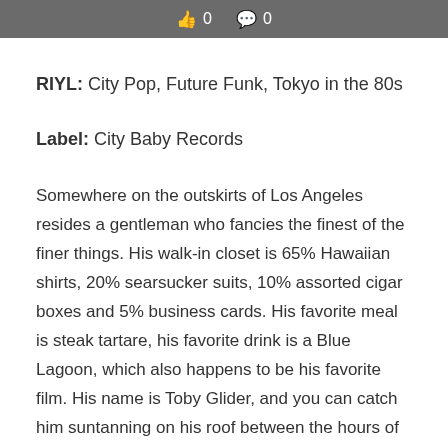👍 0  💬 0
RIYL: City Pop, Future Funk, Tokyo in the 80s
Label: City Baby Records
Somewhere on the outskirts of Los Angeles resides a gentleman who fancies the finest of the finer things. His walk-in closet is 65% Hawaiian shirts, 20% searsucker suits, 10% assorted cigar boxes and 5% business cards. His favorite meal is steak tartare, his favorite drink is a Blue Lagoon, which also happens to be his favorite film. His name is Toby Glider, and you can catch him suntanning on his roof between the hours of 2-4 pm. Toby makes dance music for the lonely, throws harps and flutes